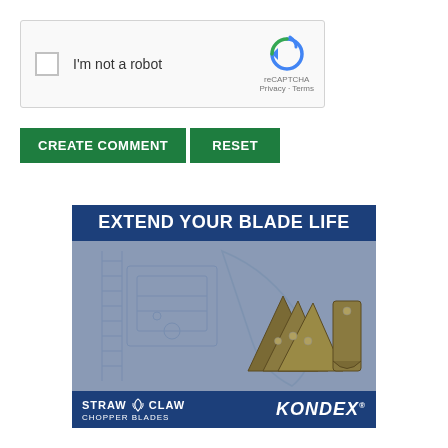[Figure (screenshot): reCAPTCHA checkbox widget with 'I'm not a robot' text and reCAPTCHA logo with Privacy and Terms links]
[Figure (other): Two green buttons labeled 'CREATE COMMENT' and 'RESET']
[Figure (infographic): Advertisement for Kondex Straw Claw Chopper Blades with text 'EXTEND YOUR BLADE LIFE', showing metal chopper blades against a blueprint background, with 'STRAW CLAW CHOPPER BLADES' and 'KONDEX' branding at the bottom]